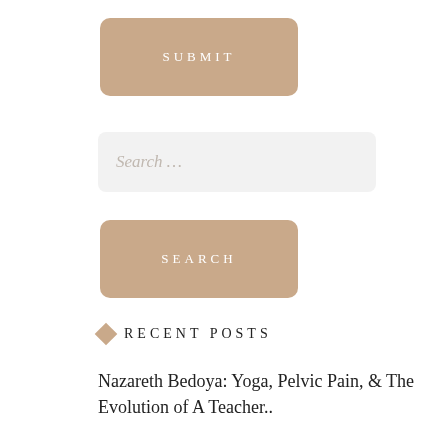[Figure (other): Submit button with tan/beige rounded rectangle background and white uppercase spaced text 'SUBMIT']
[Figure (other): Search input field with light gray rounded rectangle background and gray italic placeholder text 'Search ...']
[Figure (other): Search button with tan/beige rounded rectangle background and white uppercase spaced text 'SEARCH']
RECENT POSTS
Nazareth Bedoya: Yoga, Pelvic Pain, & The Evolution of A Teacher..
Quantum Physics and The Expanding Horizon (A Guide Beyond Woo..)